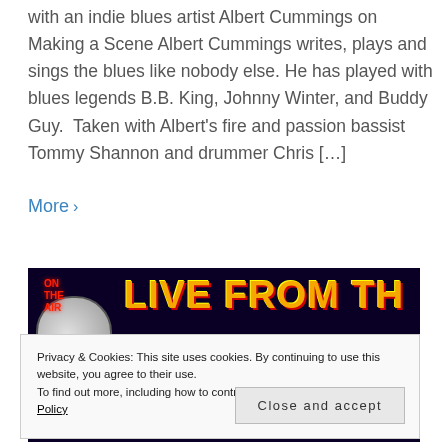with an indie blues artist Albert Cummings on Making a Scene Albert Cummings writes, plays and sings the blues like nobody else. He has played with blues legends B.B. King, Johnny Winter, and Buddy Guy.  Taken with Albert's fire and passion bassist Tommy Shannon and drummer Chris […]
More ›
[Figure (photo): Banner image with dark background showing 'ON THE AIR', 'LIVE FROM TH...' in orange/yellow stylized text and 'MIDNIGHT...' in purple, with a microphone on the left side.]
Privacy & Cookies: This site uses cookies. By continuing to use this website, you agree to their use.
To find out more, including how to control cookies, see here: Cookie Policy
Close and accept